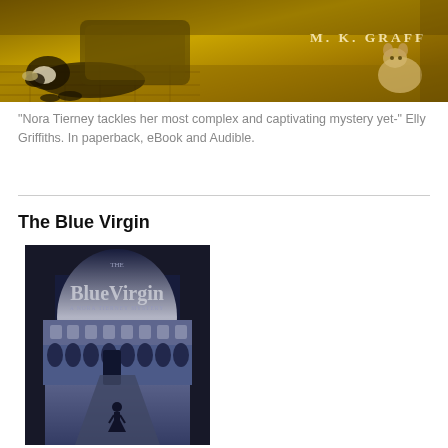[Figure (photo): Golden-toned banner image showing a beagle dog resting on the floor with what appears to be pillows or cushions in the background. A stuffed toy animal is visible on the right side. Author name 'M. K. GRAFF' displayed in light serif text on the right portion of the image.]
"Nora Tierney tackles her most complex and captivating mystery yet-" Elly Griffiths. In paperback, eBook and Audible.
The Blue Virgin
[Figure (photo): Book cover for 'The Blue Virgin: A Nora Tierney Mystery' showing a dark blue-toned photograph of a grand classical building (likely in Oxford) viewed through an archway, with a lone female figure walking toward the building in the foreground. The title 'The Blue Virgin' is displayed in large white text at the top of the cover.]